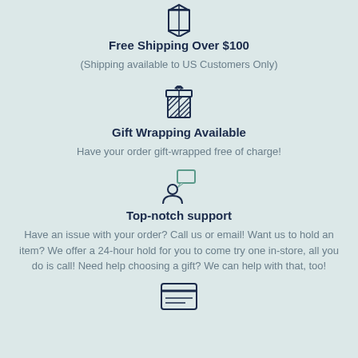[Figure (illustration): Package/box icon with diamond shape outline]
Free Shipping Over $100
(Shipping available to US Customers Only)
[Figure (illustration): Gift box icon with bow and diagonal stripes pattern]
Gift Wrapping Available
Have your order gift-wrapped free of charge!
[Figure (illustration): Customer support icon: person silhouette with speech bubble]
Top-notch support
Have an issue with your order? Call us or email! Want us to hold an item? We offer a 24-hour hold for you to come try one in-store, all you do is call! Need help choosing a gift? We can help with that, too!
[Figure (illustration): Credit card / payment icon with horizontal lines]